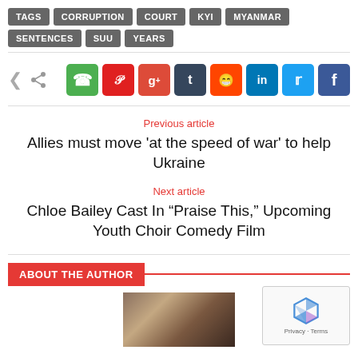TAGS CORRUPTION COURT KYI MYANMAR SENTENCES SUU YEARS
[Figure (infographic): Social share icons row: WhatsApp, Pinterest, Google+, Tumblr, Reddit, LinkedIn, Twitter, Facebook]
Previous article
Allies must move ‘at the speed of war’ to help Ukraine
Next article
Chloe Bailey Cast In “Praise This,” Upcoming Youth Choir Comedy Film
ABOUT THE AUTHOR
[Figure (photo): Author photo showing a person]